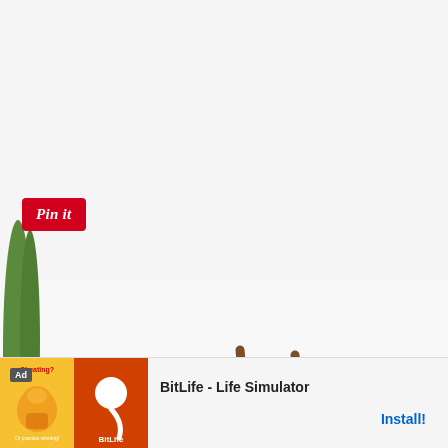[Figure (photo): Partial view of a wooden Windsor-style chair with snowflake-patterned cushions/pillows, green foliage visible at top-left, white background, photographed from below/side angle]
[Figure (screenshot): Pinterest 'Pin it' red button overlay on top-left of photo]
[Figure (screenshot): Advertisement banner at bottom: BitLife - Life Simulator app ad with Ad label, cartoon graphics on left, app name and Install button on right]